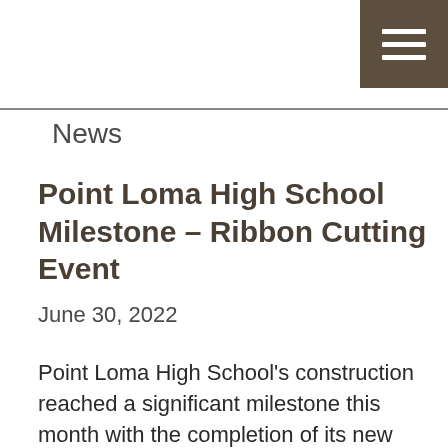≡
News
Point Loma High School Milestone – Ribbon Cutting Event
June 30, 2022
Point Loma High School's construction reached a significant milestone this month with the completion of its new classroom and library/media center. Turpin & Rattan Engineering worked with the San Di